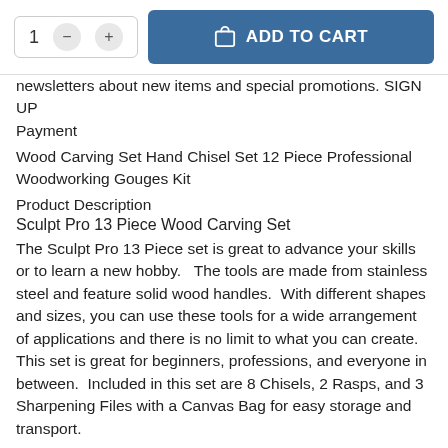[Figure (screenshot): E-commerce add to cart UI with quantity selector showing '1' with minus and plus buttons, and a blue 'ADD TO CART' button with shopping bag icon]
newsletters about new items and special promotions. SIGN UP
Payment
Wood Carving Set Hand Chisel Set 12 Piece Professional Woodworking Gouges Kit
Product Description
Sculpt Pro 13 Piece Wood Carving Set
The Sculpt Pro 13 Piece set is great to advance your skills or to learn a new hobby.   The tools are made from stainless steel and feature solid wood handles.  With different shapes and sizes, you can use these tools for a wide arrangement of applications and there is no limit to what you can create.  This set is great for beginners, professions, and everyone in between.  Included in this set are 8 Chisels, 2 Rasps, and 3 Sharpening Files with a Canvas Bag for easy storage and transport.
Features:
8 Chisels
2 Rasps